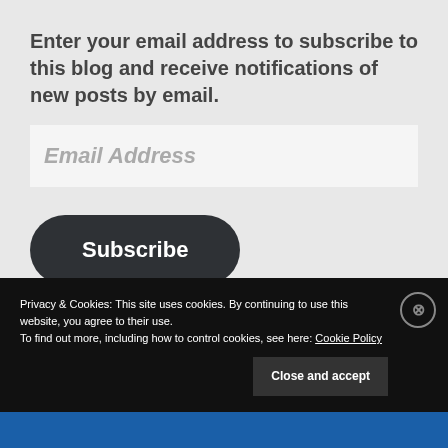Enter your email address to subscribe to this blog and receive notifications of new posts by email.
Email Address
Subscribe
Join 456 other subscribers.
Privacy & Cookies: This site uses cookies. By continuing to use this website, you agree to their use.
To find out more, including how to control cookies, see here: Cookie Policy
Close and accept